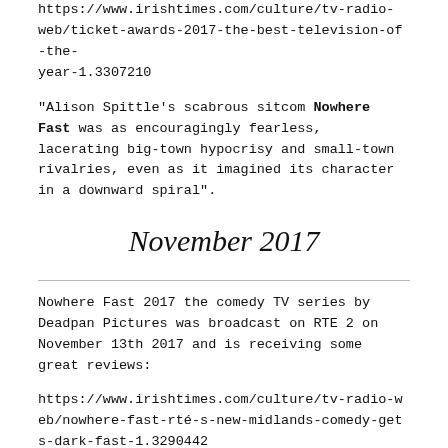https://www.irishtimes.com/culture/tv-radio-web/ticket-awards-2017-the-best-television-of-the-year-1.3307210
"Alison Spittle's scabrous sitcom Nowhere Fast was as encouragingly fearless, lacerating big-town hypocrisy and small-town rivalries, even as it imagined its character in a downward spiral".
November 2017
Nowhere Fast 2017 the comedy TV series by Deadpan Pictures was broadcast on RTE 2 on November 13th 2017 and is receiving some great reviews:
https://www.irishtimes.com/culture/tv-radio-web/nowhere-fast-rté-s-new-midlands-comedy-gets-dark-fast-1.3290442
http://www.dailyedge.ie/mary-alison-spittles-nowhere-fast-3695443-Nov2017/